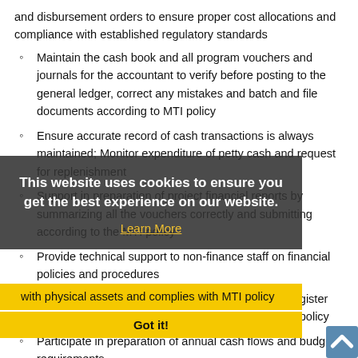and disbursement orders to ensure proper cost allocations and compliance with established regulatory standards
Maintain the cash book and all program vouchers and journals for the accountant to verify before posting to the general ledger, correct any mistakes and batch and file documents according to MTI policy
Ensure accurate record of cash transactions is always maintained; Monitor expenditure of petty cash and request for replenishment
Support in preparation of project financial reports by summarizing all the vouchers correctly and submitting according to the MTI policy
Provide technical support to non-finance staff on financial policies and procedures
Verify with Operations Department that the asset register agrees with physical assets and complies with MTI policy
Participate in preparation of annual cash flows and budget requirements
Support safeguarding of program participants and employees